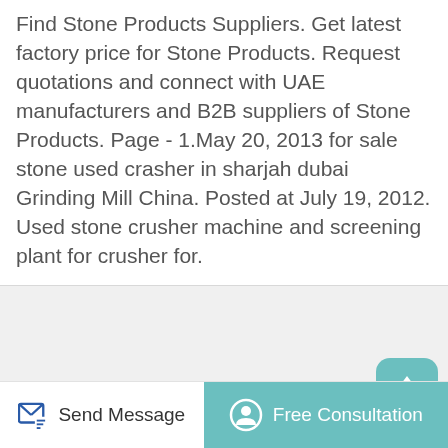Find Stone Products Suppliers. Get latest factory price for Stone Products. Request quotations and connect with UAE manufacturers and B2B suppliers of Stone Products. Page - 1.May 20, 2013 for sale stone used crasher in sharjah dubai Grinding Mill China. Posted at July 19, 2012. Used stone crusher machine and screening plant for crusher for.
[Figure (photo): Photograph of a used stone crusher machine with large yellow flywheels with red detail, industrial screening plant equipment outdoors.]
Send Message
Free Consultation